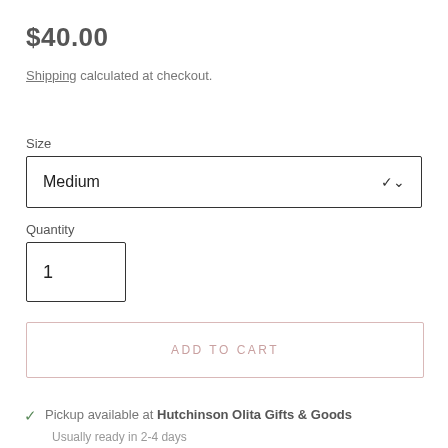$40.00
Shipping calculated at checkout.
Size
Medium
Quantity
1
ADD TO CART
Pickup available at Hutchinson Olita Gifts & Goods
Usually ready in 2-4 days